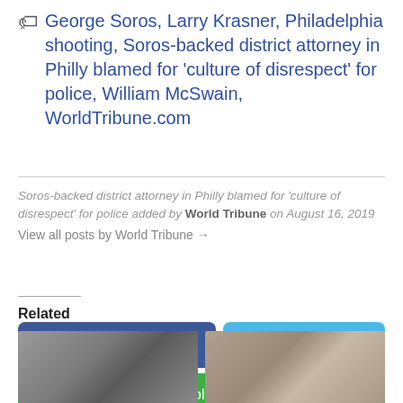George Soros, Larry Krasner, Philadelphia shooting, Soros-backed district attorney in Philly blamed for 'culture of disrespect' for police, William McSwain, WorldTribune.com
Soros-backed district attorney in Philly blamed for 'culture of disrespect' for police added by World Tribune on August 16, 2019
View all posts by World Tribune →
Share on Facebook
Tweet
Follow us
Related
[Figure (photo): Photo of an older man, likely George Soros, at a microphone]
[Figure (photo): Photo of a man in glasses, likely Larry Krasner, in front of an American flag]